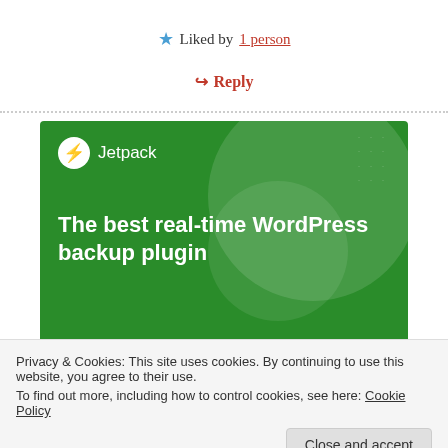Liked by 1 person
Reply
[Figure (infographic): Jetpack advertisement banner with green background. Shows Jetpack logo at top left (white circle with lightning bolt), bold white text reading 'The best real-time WordPress backup plugin', and a white button labeled 'Back up your site'.]
Privacy & Cookies: This site uses cookies. By continuing to use this website, you agree to their use. To find out more, including how to control cookies, see here: Cookie Policy
Close and accept